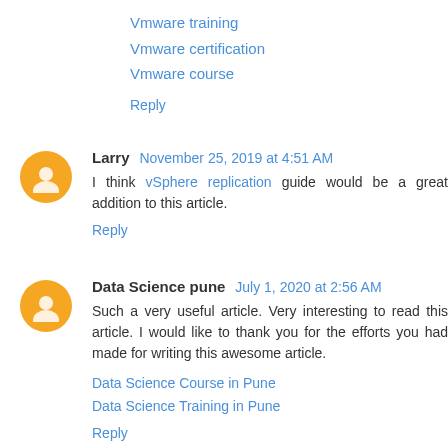Vmware training
Vmware certification
Vmware course
Reply
Larry  November 25, 2019 at 4:51 AM
I think vSphere replication guide would be a great addition to this article.
Reply
Data Science pune  July 1, 2020 at 2:56 AM
Such a very useful article. Very interesting to read this article. I would like to thank you for the efforts you had made for writing this awesome article.
Data Science Course in Pune
Data Science Training in Pune
Reply